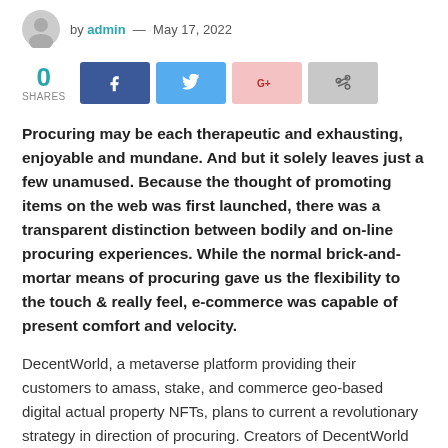by admin — May 17, 2022
[Figure (infographic): Social sharing bar with 0 shares count and four social media buttons: Facebook (dark blue), Twitter (light blue), Google+ (pink), and a share button (grey)]
Procuring may be each therapeutic and exhausting, enjoyable and mundane. And but it solely leaves just a few unamused. Because the thought of promoting items on the web was first launched, there was a transparent distinction between bodily and on-line procuring experiences. While the normal brick-and-mortar means of procuring gave us the flexibility to the touch & really feel, e-commerce was capable of present comfort and velocity.
DecentWorld, a metaverse platform providing their customers to amass, stake, and commerce geo-based digital actual property NFTs, plans to current a revolutionary strategy in direction of procuring. Creators of DecentWorld